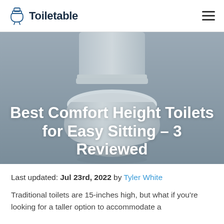Toiletable
[Figure (photo): A grey/white comfort height toilet photographed from a low angle against a grey background, showing the toilet bowl, seat, and tank.]
Best Comfort Height Toilets for Easy Sitting – 3 Reviewed
Last updated: Jul 23rd, 2022 by Tyler White
Traditional toilets are 15-inches high, but what if you're looking for a taller option to accommodate a